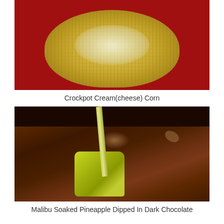[Figure (photo): Close-up photo of Crockpot Cream Cheese Corn in a red dish — corn kernels covered in a creamy white cheese sauce]
Crockpot Cream(cheese) Corn
[Figure (photo): Close-up photo of a pineapple chunk on a stick being dipped into dark melted chocolate in a dark bowl]
Malibu Soaked Pineapple Dipped In Dark Chocolate